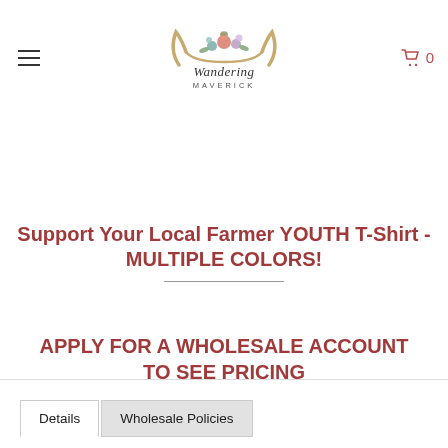[Figure (logo): Wandering Maverick logo with longhorn skull decorated with flowers and script/block lettering]
Support Your Local Farmer YOUTH T-Shirt - MULTIPLE COLORS!
APPLY FOR A WHOLESALE ACCOUNT TO SEE PRICING
Details | Wholesale Policies (tabs)